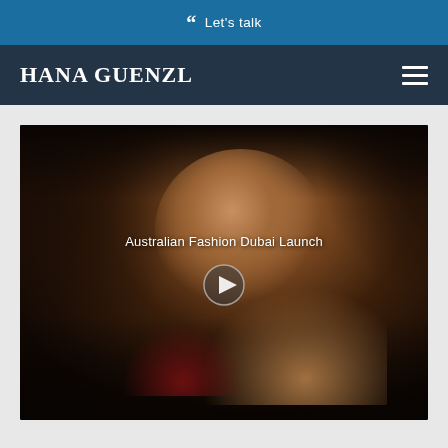❝ Let's talk
HANA GUENZL
[Figure (photo): Dark portrait photo of a woman with voluminous curly hair, wearing red, with text overlay 'Australian Fashion Dubai Launch' and a play button icon in the center]
Australian Fashion Dubai Launch